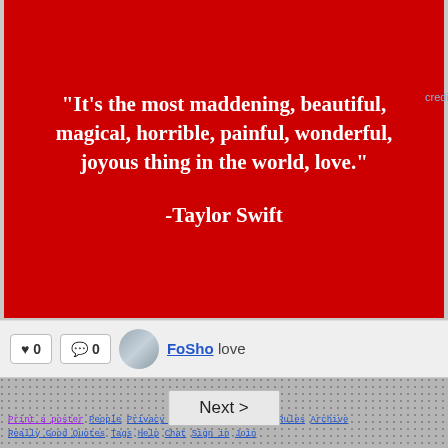[Figure (screenshot): Red background quote card showing Taylor Swift quote about love]
"It's the most maddening, beautiful, magical, horrible, painful, wonderful, joyous thing in the world, love."

-Taylor Swift
♥ 0   💬 0   FoSho love
Next >
Print a poster  People  Privacy Policy  Terms of Use  Rules  Archive  Really Good Quotes  Tags  Help  Chat  Sign in  Join  Witty tumblr  Witty Pinterest  Witty Instagram  Witty Facebook  Witty Twitter  © 2004-2022 Witty Profiles  Mobile Site